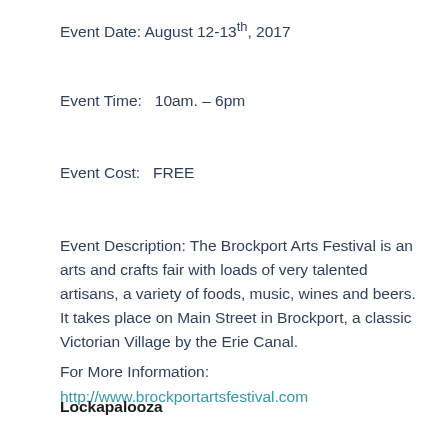Event Date: August 12-13th, 2017
Event Time:   10am. – 6pm
Event Cost:   FREE
Event Description: The Brockport Arts Festival is an arts and crafts fair with loads of very talented artisans, a variety of foods, music, wines and beers. It takes place on Main Street in Brockport, a classic Victorian Village by the Erie Canal.
For More Information:
http://www.brockportartsfestival.com
Lockapalooza